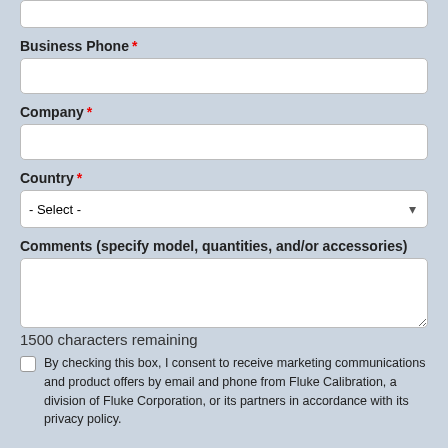[top input field — partial, cropped]
Business Phone *
[Business Phone input field]
Company *
[Company input field]
Country *
- Select -
Comments (specify model, quantities, and/or accessories)
[Comments textarea]
1500 characters remaining
By checking this box, I consent to receive marketing communications and product offers by email and phone from Fluke Calibration, a division of Fluke Corporation, or its partners in accordance with its privacy policy.